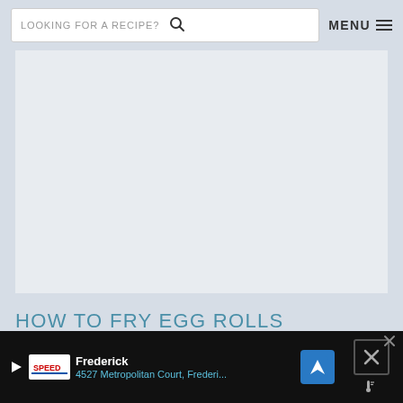LOOKING FOR A RECIPE?  MENU
[Figure (photo): Large image placeholder area with light grey background, likely showing egg rolls or related food content]
HOW TO FRY EGG ROLLS
1. Heat vegetable oil in a deep stock pot/Dutch
[Figure (screenshot): Advertisement banner for Frederick showing address 4527 Metropolitan Court, Frederi... with navigation map icon and close button]